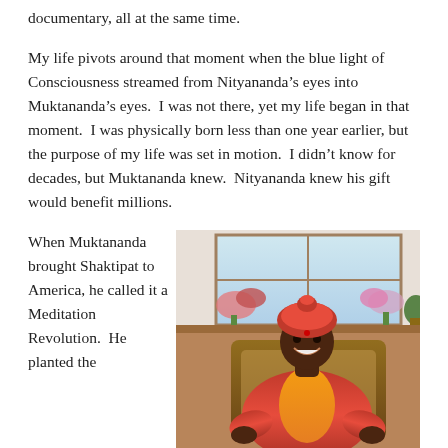documentary, all at the same time.
My life pivots around that moment when the blue light of Consciousness streamed from Nityananda’s eyes into Muktananda’s eyes.  I was not there, yet my life began in that moment.  I was physically born less than one year earlier, but the purpose of my life was set in motion.  I didn’t know for decades, but Muktananda knew.  Nityananda knew his gift would benefit millions.
When Muktananda brought Shaktipat to America, he called it a Meditation Revolution.  He planted the
[Figure (photo): A smiling man in red and orange robes and a red turban, seated in a wooden chair, with flowers and a window visible in the background.]